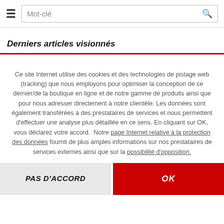≡  Mot-clé 🔍
Derniers articles visionnés
Ce site Internet utilise des cookies et des technologies de pistage web (tracking) que nous employons pour optimiser la conception de ce dernier/de la boutique en ligne et de notre gamme de produits ainsi que pour nous adresser directement à notre clientèle. Les données sont également transférées à des prestataires de services et nous permettent d'effectuer une analyse plus détaillée en ce sens. En cliquant sur OK, vous déclarez votre accord. Notre page Internet relative à la protection des données fournit de plus amples informations sur nos prestataires de services externes ainsi que sur la possibilité d'opposition.
PAS D'ACCORD
OK